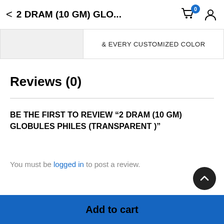2 DRAM (10 GM) GLO...
& EVERY CUSTOMIZED COLOR
Reviews (0)
BE THE FIRST TO REVIEW “2 DRAM (10 GM) GLOBULES PHILES (TRANSPARENT )”
You must be logged in to post a review.
There are no reviews yet.
Add to cart